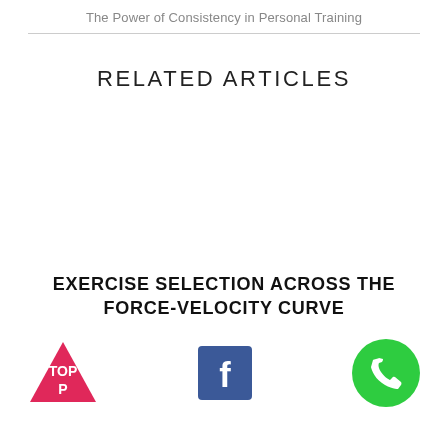The Power of Consistency in Personal Training
RELATED ARTICLES
EXERCISE SELECTION ACROSS THE FORCE-VELOCITY CURVE
[Figure (logo): Red triangle TOP icon with text TOP inside]
[Figure (logo): Facebook blue square icon with white f]
[Figure (logo): Green circle phone/call icon]